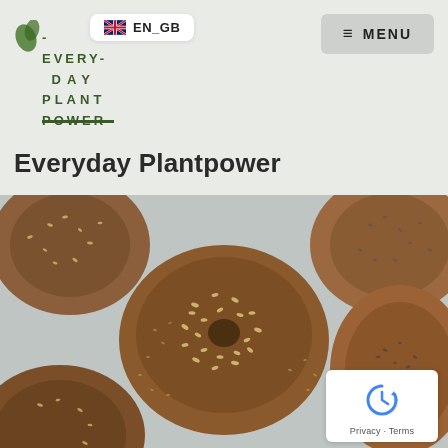[Figure (logo): Everyday Plantpower website logo with stacked text EVERYDAY PLANT POWER in dark green with underline, UK flag EN_GB language badge, and hamburger MENU button]
Everyday Plantpower
[Figure (photo): Overhead photo of multiple seeded bagels on parchment paper, showing sesame and poppy seed toppings, golden brown baked bagels arranged across the frame]
[Figure (other): Google reCAPTCHA badge with recycling-arrow icon and Privacy - Terms text]